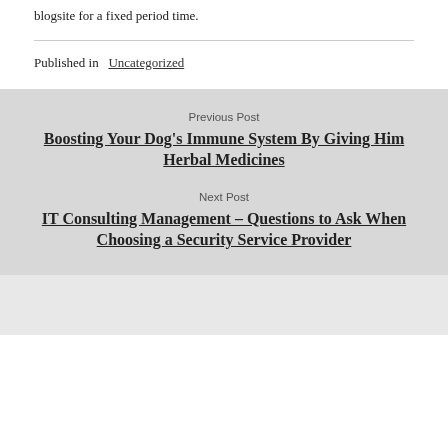blogsite for a fixed period time.
Published in Uncategorized
Previous Post
Boosting Your Dog's Immune System By Giving Him Herbal Medicines
Next Post
IT Consulting Management – Questions to Ask When Choosing a Security Service Provider